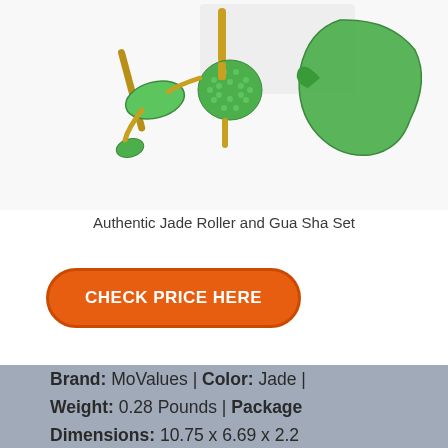[Figure (photo): Product photo showing an Authentic Jade Roller and Gua Sha Set — green jade roller, spiky massage roller, and gua sha stone tool on a white background]
Authentic Jade Roller and Gua Sha Set
CHECK PRICE HERE
Brand: MoValues | Color: Jade | Weight: 0.28 Pounds | Package Dimensions: 10.75 x 6.69 x 2.2